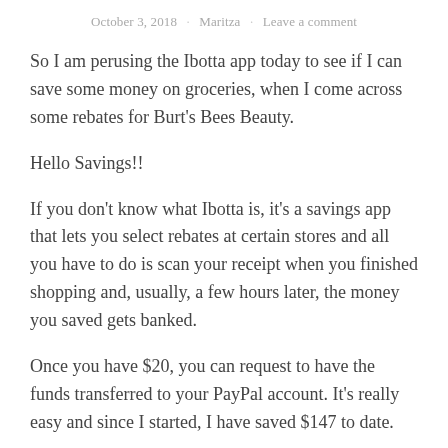October 3, 2018 · Maritza · Leave a comment
So I am perusing the Ibotta app today to see if I can save some money on groceries, when I come across some rebates for Burt's Bees Beauty.
Hello Savings!!
If you don't know what Ibotta is, it's a savings app that lets you select rebates at certain stores and all you have to do is scan your receipt when you finished shopping and, usually, a few hours later, the money you saved gets banked.
Once you have $20, you can request to have the funds transferred to your PayPal account. It's really easy and since I started, I have saved $147 to date.